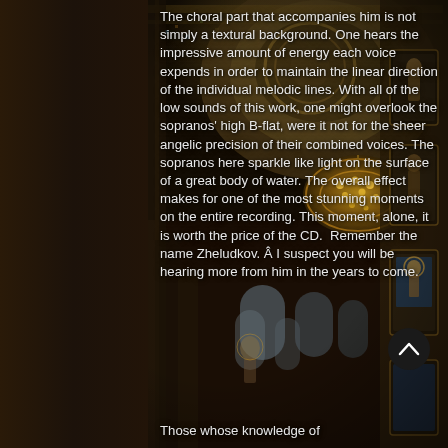[Figure (photo): Interior of an ornate Orthodox church with golden mosaics, chandeliers, and iconographic paintings on the ceiling and walls. The image is richly colored with deep blues, golds, and browns.]
The choral part that accompanies him is not simply a textural background. One hears the impressive amount of energy each voice expends in order to maintain the linear direction of the individual melodic lines. With all of the low sounds of this work, one might overlook the sopranos' high B-flat, were it not for the sheer angelic precision of their combined voices. The sopranos here sparkle like light on the surface of a great body of water. The overall effect makes for one of the most stunning moments on the entire recording. This moment, alone, it is worth the price of the CD.  Remember the name Zheludkov. Â I suspect you will be hearing more from him in the years to come.
Those whose knowledge of